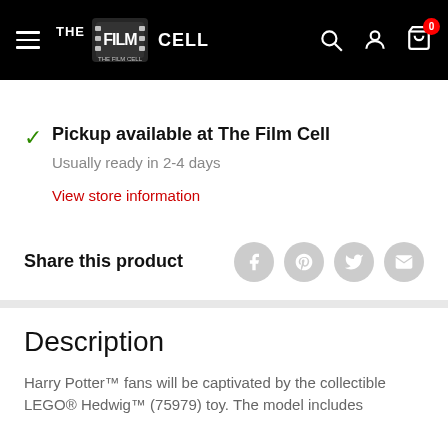THE FILM CELL — Navigation header with logo, search, account, and cart icons
Pickup available at The Film Cell
Usually ready in 2-4 days
View store information
Share this product
Description
Harry Potter™ fans will be captivated by the collectible LEGO® Hedwig™ (75979) toy. The model includes